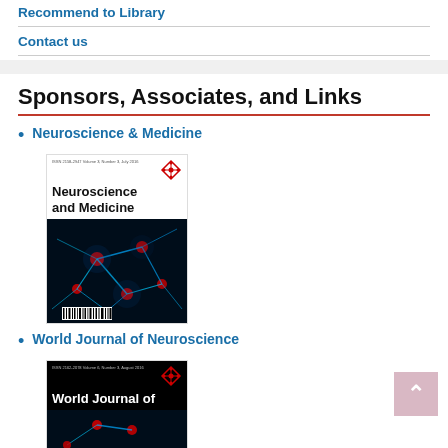Recommend to Library
Contact us
Sponsors, Associates, and Links
Neuroscience & Medicine
[Figure (photo): Journal cover of Neuroscience and Medicine showing a neural network image with glowing blue neurons on black background, with barcode at bottom.]
World Journal of Neuroscience
[Figure (photo): Journal cover of World Journal of Neuroscience, dark background with journal title in white text.]